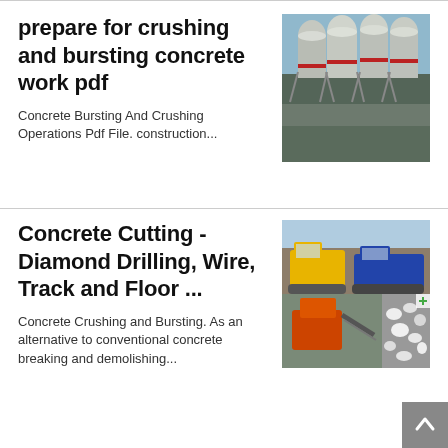prepare for crushing and bursting concrete work pdf
Concrete Bursting And Crushing Operations Pdf File. construction...
[Figure (photo): Industrial silos and concrete batching plant exterior]
Concrete Cutting - Diamond Drilling, Wire, Track and Floor ...
[Figure (photo): Collage of concrete crushing and construction machinery]
Concrete Crushing and Bursting. As an alternative to conventional concrete breaking and demolishing...